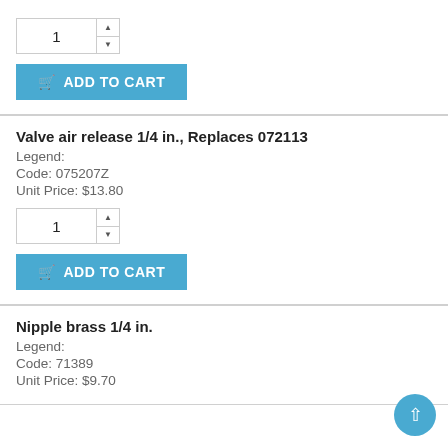1 (quantity spinner)
ADD TO CART
Valve air release 1/4 in., Replaces 072113
Legend:
Code: 075207Z
Unit Price: $13.80
1 (quantity spinner)
ADD TO CART
Nipple brass 1/4 in.
Legend:
Code: 71389
Unit Price: $9.70